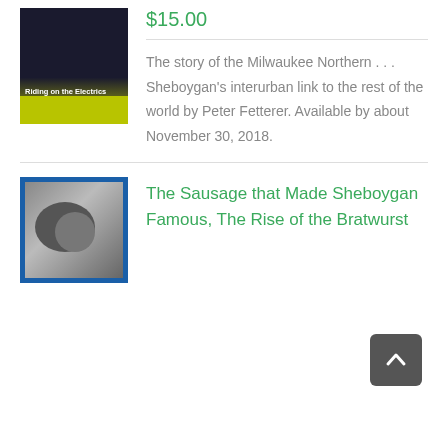[Figure (photo): Book cover for 'Riding on the Electrics' with dark background and yellow-green strip at bottom]
$15.00
The story of the Milwaukee Northern . . . Sheboygan's interurban link to the rest of the world by Peter Fetterer. Available by about November 30, 2018.
The Sausage that Made Sheboygan Famous, The Rise of the Bratwurst
[Figure (photo): Book cover with blue border showing black and white photo]